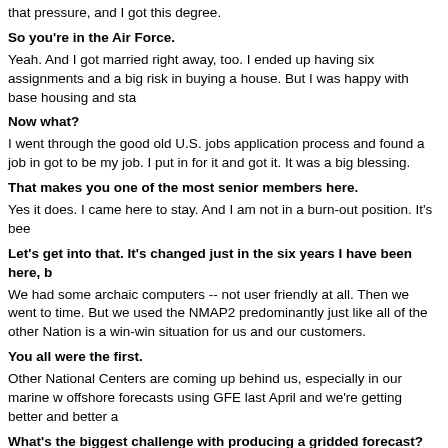that pressure, and I got this degree.
So you're in the Air Force.
Yeah. And I got married right away, too. I ended up having six assignments and a big risk in buying a house. But I was happy with base housing and sta
Now what?
I went through the good old U.S. jobs application process and found a job in got to be my job. I put in for it and got it. It was a big blessing.
That makes you one of the most senior members here.
Yes it does. I came here to stay. And I am not in a burn-out position. It's bee
Let's get into that. It's changed just in the six years I have been here, b
We had some archaic computers -- not user friendly at all. Then we went to time. But we used the NMAP2 predominantly just like all of the other Nation is a win-win situation for us and our customers.
You all were the first.
Other National Centers are coming up behind us, especially in our marine w offshore forecasts using GFE last April and we're getting better and better a
What's the biggest challenge with producing a gridded forecast?
Right now, there is a lot of learning to hit the right button at the right time. Th the old system. We can spend more time forecasting. The customers can ge personal needs.